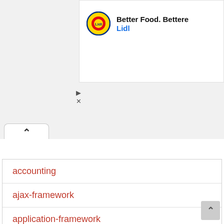[Figure (screenshot): Lidl advertisement banner showing logo and 'Better Food. Better...' tagline with Lidl brand name in blue]
accounting
ajax-framework
application-framework
audio-editor
automation
big-data
blog-engine
browser